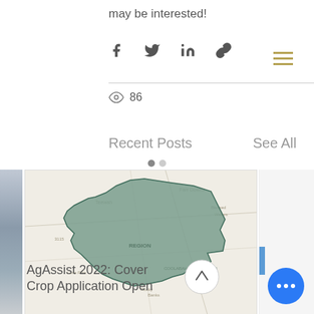may be interested!
[Figure (infographic): Social share icons: Facebook, Twitter, LinkedIn, Link/chain icon, and hamburger menu icon in gold/brown color]
86
Recent Posts
See All
[Figure (map): A map showing a shaded green geographic region, likely a county or district boundary overlay on a topographic/road map background. An up-arrow circle button appears in the lower right of the map.]
AgAssist 2022: Cover Crop Application Open